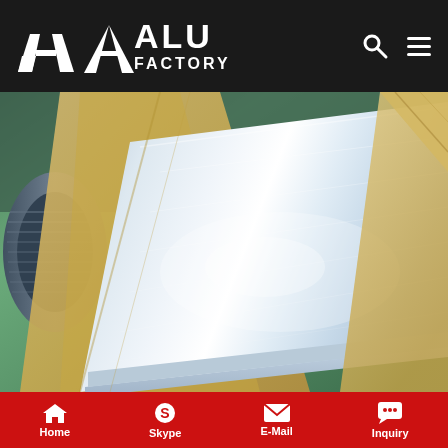ALU FACTORY
[Figure (photo): Aluminum sheet panels stacked and wrapped in brown kraft paper packaging, with aluminum coil rolls visible in the background in an industrial factory setting.]
Tesla patent reveals cooling system in battery packs
Home | Skype | E-Mail | Inquiry